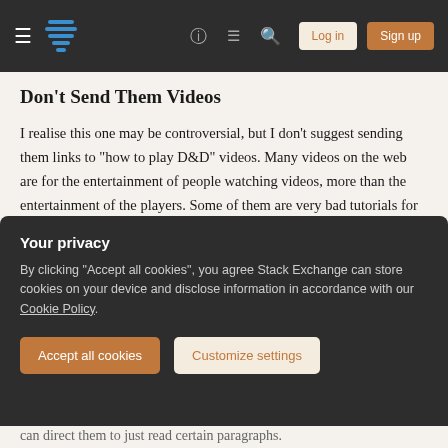Stack Exchange navigation bar with logo, hamburger menu, help, chat, search icons, Log in and Sign up buttons
Don't Send Them Videos
I realise this one may be controversial, but I don't suggest sending them links to "how to play D&D" videos. Many videos on the web are for the entertainment of people watching videos, more than the entertainment of the players. Some of them are very bad tutorials for playing the game.
Also, tables have different atmospheres. You want this new person to join your table without too many
Your privacy
By clicking "Accept all cookies", you agree Stack Exchange can store cookies on your device and disclose information in accordance with our Cookie Policy.
can direct them to just read certain paragraphs.